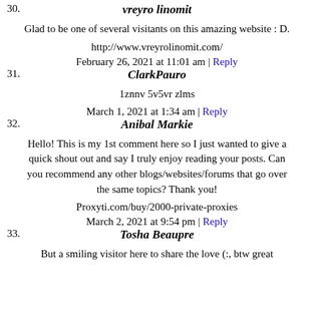30. vreyro linomit
Glad to be one of several visitants on this amazing website : D.
http://www.vreyrolinomit.com/
February 26, 2021 at 11:01 am | Reply
31. ClarkPauro
1znnv 5v5vr zlms
March 1, 2021 at 1:34 am | Reply
32. Anibal Markie
Hello! This is my 1st comment here so I just wanted to give a quick shout out and say I truly enjoy reading your posts. Can you recommend any other blogs/websites/forums that go over the same topics? Thank you!
Proxyti.com/buy/2000-private-proxies
March 2, 2021 at 9:54 pm | Reply
33. Tosha Beaupre
But a smiling visitor here to share the love (:, btw great